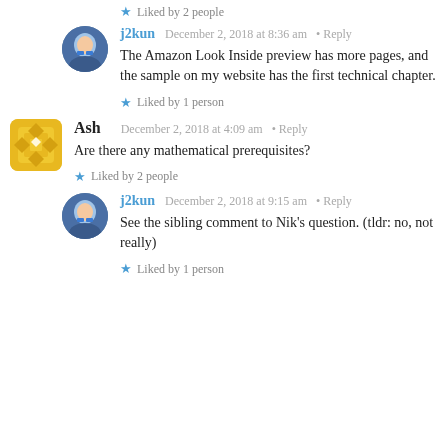Liked by 2 people
j2kun — December 2, 2018 at 8:36 am • Reply
The Amazon Look Inside preview has more pages, and the sample on my website has the first technical chapter.
Liked by 1 person
Ash — December 2, 2018 at 4:09 am • Reply
Are there any mathematical prerequisites?
Liked by 2 people
j2kun — December 2, 2018 at 9:15 am • Reply
See the sibling comment to Nik's question. (tldr: no, not really)
Liked by 1 person